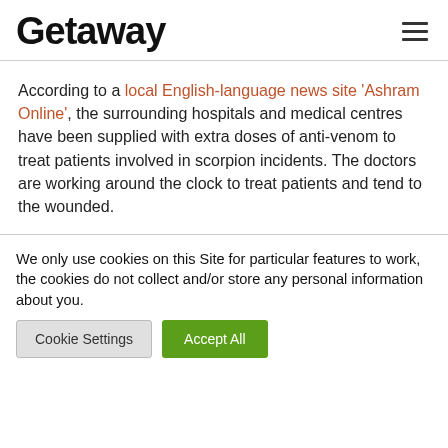Getaway
According to a local English-language news site 'Ashram Online', the surrounding hospitals and medical centres have been supplied with extra doses of anti-venom to treat patients involved in scorpion incidents. The doctors are working around the clock to treat patients and tend to the wounded.
We only use cookies on this Site for particular features to work, the cookies do not collect and/or store any personal information about you.